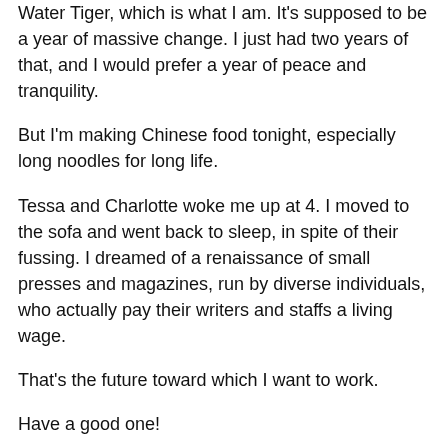Water Tiger, which is what I am. It's supposed to be a year of massive change. I just had two years of that, and I would prefer a year of peace and tranquility.
But I'm making Chinese food tonight, especially long noodles for long life.
Tessa and Charlotte woke me up at 4. I moved to the sofa and went back to sleep, in spite of their fussing. I dreamed of a renaissance of small presses and magazines, run by diverse individuals, who actually pay their writers and staffs a living wage.
That's the future toward which I want to work.
Have a good one!
February 1, 2022